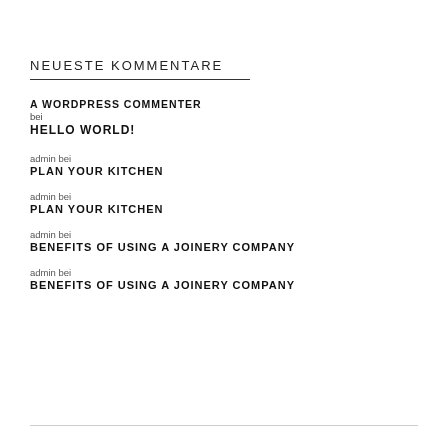NEUESTE KOMMENTARE
A WORDPRESS COMMENTER bei HELLO WORLD!
admin bei PLAN YOUR KITCHEN
admin bei PLAN YOUR KITCHEN
admin bei BENEFITS OF USING A JOINERY COMPANY
admin bei BENEFITS OF USING A JOINERY COMPANY